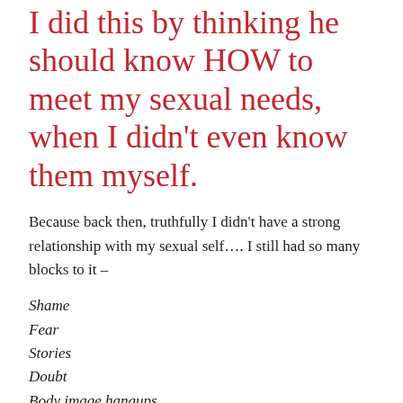I did this by thinking he should know HOW to meet my sexual needs, when I didn't even know them myself.
Because back then, truthfully I didn't have a strong relationship with my sexual self.... I still had so many blocks to it –
Shame
Fear
Stories
Doubt
Body image hangups ...
The list goes on.
Yet a pivotal decision happened for me one day,